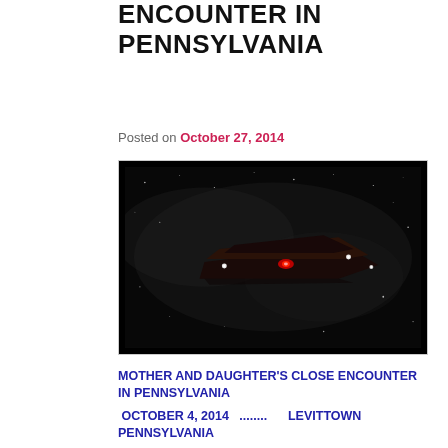ENCOUNTER IN PENNSYLVANIA
Posted on October 27, 2014
[Figure (illustration): Dark nighttime scene showing a flat angular UFO/spacecraft with red center light and white corner lights against a starry dark sky with subtle cloud-like formations.]
MOTHER AND DAUGHTER'S CLOSE ENCOUNTER IN PENNSYLVANIA
OCTOBER 4, 2014  ........   LEVITTOWN PENNSYLVANIA